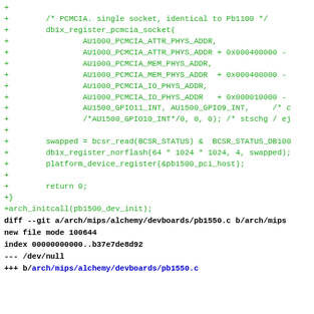+ 
+        /* PCMCIA. single socket, identical to Pb1100 */
+        db1x_register_pcmcia_socket(
+                AU1000_PCMCIA_ATTR_PHYS_ADDR,
+                AU1000_PCMCIA_ATTR_PHYS_ADDR + 0x000400000 -
+                AU1000_PCMCIA_MEM_PHYS_ADDR,
+                AU1000_PCMCIA_MEM_PHYS_ADDR  + 0x000400000 -
+                AU1000_PCMCIA_IO_PHYS_ADDR,
+                AU1000_PCMCIA_IO_PHYS_ADDR   + 0x000010000 -
+                AU1500_GPIO11_INT, AU1500_GPIO9_INT,     /* c
+                /*AU1500_GPIO10_INT*/0, 0, 0); /* stschg / ej
+
+        swapped = bcsr_read(BCSR_STATUS) &  BCSR_STATUS_DB100
+        db1x_register_norflash(64 * 1024 * 1024, 4, swapped);
+        platform_device_register(&pb1500_pci_host);
+
+        return 0;
+}
+arch_initcall(pb1500_dev_init);
diff --git a/arch/mips/alchemy/devboards/pb1550.c b/arch/mips
new file mode 100644
index 00000000000..b37e7de8d92
--- /dev/null
+++ b/arch/mips/alchemy/devboards/pb1550.c